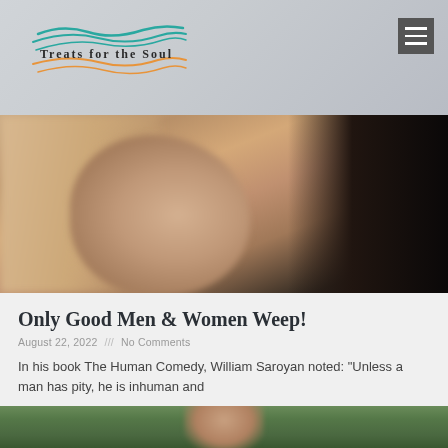Treats for the Soul
[Figure (photo): Close-up blurry photograph of a human ear and side of face against dark background]
Only Good Men & Women Weep!
August 22, 2022 /// No Comments
In his book The Human Comedy, William Saroyan noted: "Unless a man has pity, he is inhuman and
Read More »
[Figure (photo): Partial view of a person's head outdoors with green foliage background, cropped at bottom of page]